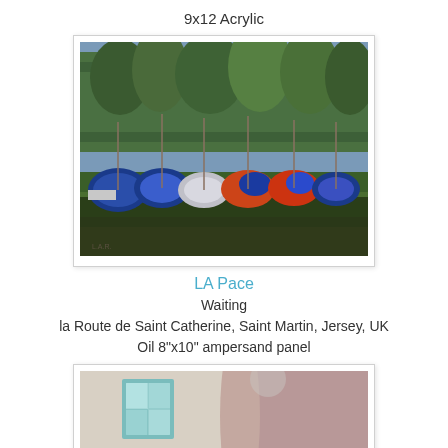9x12 Acrylic
[Figure (illustration): Oil painting of several sailboats with blue, white, and orange/red covers resting on grass in front of a row of green trees, viewed from the side.]
LA Pace
Waiting
la Route de Saint Catherine, Saint Martin, Jersey, UK
Oil 8"x10" ampersand panel
[Figure (illustration): Oil painting of a building exterior showing a white/beige wall with a teal-framed window on the left and a pink/mauve curved wall section on the right, with a hint of green at the bottom right.]